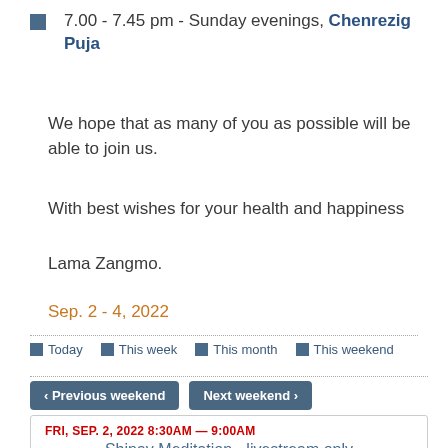7.00 - 7.45 pm - Sunday evenings, Chenrezig Puja
We hope that as many of you as possible will be able to join us.
With best wishes for your health and happiness
Lama Zangmo.
Sep. 2 - 4, 2022
Today  This week  This month  This weekend
‹ Previous weekend  Next weekend ›
FRI, SEP. 2, 2022 8:30AM — 9:00AM
Shinay Meditation - livestream only